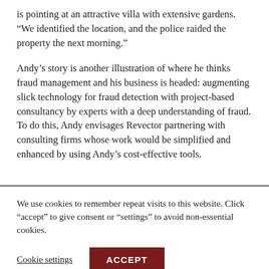is pointing at an attractive villa with extensive gardens. “We identified the location, and the police raided the property the next morning.”
Andy’s story is another illustration of where he thinks fraud management and his business is headed: augmenting slick technology for fraud detection with project-based consultancy by experts with a deep understanding of fraud. To do this, Andy envisages Revector partnering with consulting firms whose work would be simplified and enhanced by using Andy’s cost-effective tools.
We use cookies to remember repeat visits to this website. Click “accept” to give consent or “settings” to avoid non-essential cookies.
Cookie settings   ACCEPT